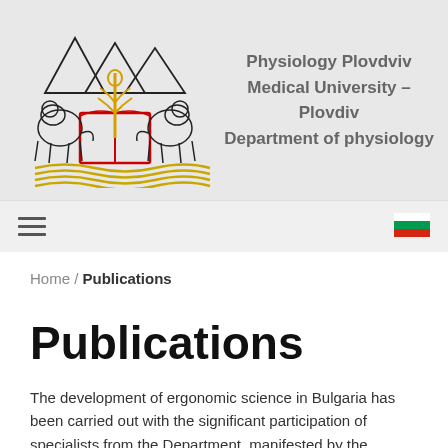[Figure (logo): Plovdiv Medical University coat of arms logo with lions, pyramids, caduceus symbol and open book on yellow waves]
Physiology Plovdviv
Medical University - Plovdiv
Department of physiology
[Figure (other): Hamburger menu icon (three horizontal lines)]
[Figure (other): Bulgarian flag icon]
Home / Publications
Publications
The development of ergonomic science in Bulgaria has been carried out with the significant participation of specialists from the Department, manifested by the numerous publications in this field.